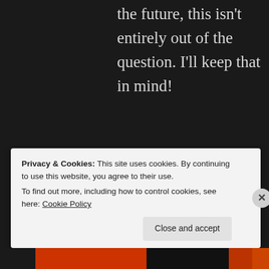the future, this isn't entirely out of the question. I'll keep that in mind!
[Figure (illustration): Circular avatar image with blue/purple tones representing user JudahFirst]
JudahFirst says: November 12, 2013 at 12:54 pm
That would be
Privacy & Cookies: This site uses cookies. By continuing to use this website, you agree to their use. To find out more, including how to control cookies, see here: Cookie Policy
Close and accept